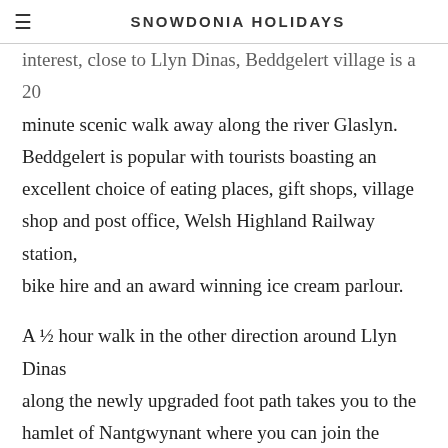SNOWDONIA HOLIDAYS
interest, close to Llyn Dinas, Beddgelert village is a 20 minute scenic walk away along the river Glaslyn. Beddgelert is popular with tourists boasting an excellent choice of eating places, gift shops, village shop and post office, Welsh Highland Railway station, bike hire and an award winning ice cream parlour.
A ½ hour walk in the other direction around Llyn Dinas along the newly upgraded foot path takes you to the hamlet of Nantgwynant where you can join the Llwybyr Watkin foot path up Snowdon. Caffi Gwynant Café is highly recommended – sample home cooking and local produce at its best in a beautifully renovated